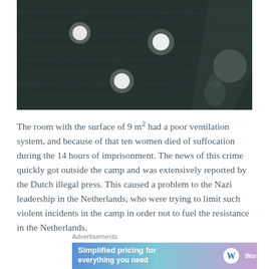[Figure (photo): Black and white historical photograph showing a dark wall or surface with several bright white circular spots/lights and a faint figure visible in the lower right area.]
The room with the surface of 9 m² had a poor ventilation system, and because of that ten women died of suffocation during the 14 hours of imprisonment. The news of this crime quickly got outside the camp and was extensively reported by the Dutch illegal press. This caused a problem to the Nazi leadership in the Netherlands, who were trying to limit such violent incidents in the camp in order not to fuel the resistance in the Netherlands.
Advertisements
[Figure (screenshot): WordPress.com advertisement banner reading 'Simplified pricing for everything you need' with WordPress.com logo on right side, blue to purple gradient background.]